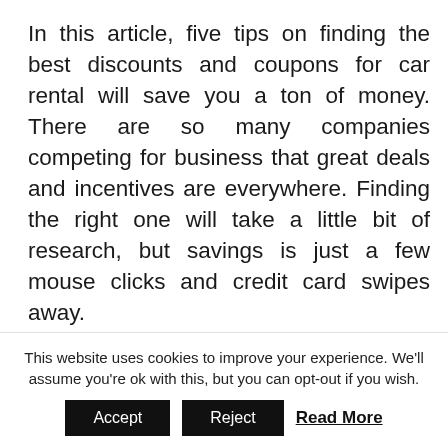In this article, five tips on finding the best discounts and coupons for car rental will save you a ton of money. There are so many companies competing for business that great deals and incentives are everywhere. Finding the right one will take a little bit of research, but savings is just a few mouse clicks and credit card swipes away.
The first place to look for great deals is look at your airline's frequent flier program. Many airlines and their partner alliances often sign
This website uses cookies to improve your experience. We'll assume you're ok with this, but you can opt-out if you wish.